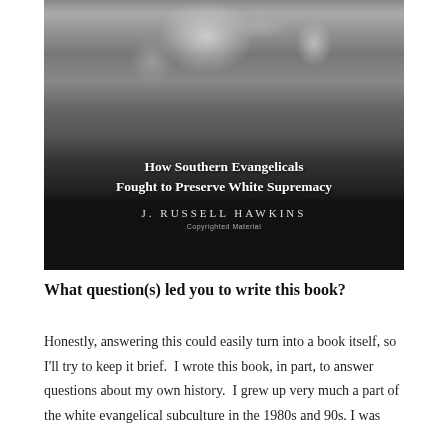[Figure (photo): Book cover in black and white showing a woman kneeling with a child outdoors. Text overlay reads 'How Southern Evangelicals Fought to Preserve White Supremacy' and author name 'J. RUSSELL HAWKINS' with 'Copyrighted Material' watermark.]
What question(s) led you to write this book?
Honestly, answering this could easily turn into a book itself, so I'll try to keep it brief.  I wrote this book, in part, to answer questions about my own history.  I grew up very much a part of the white evangelical subculture in the 1980s and 90s. I was